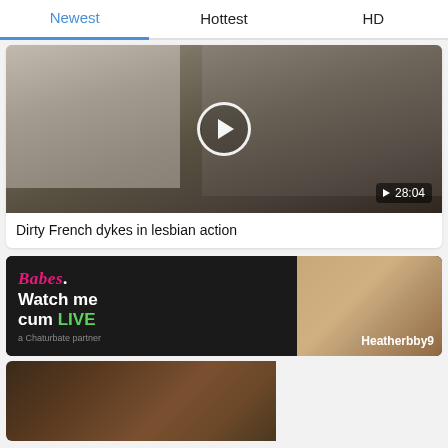Newest | Hottest | HD
[Figure (screenshot): Video thumbnail showing two women seated on a couch with a play button overlay and duration badge showing 28:04]
Dirty French dykes in lesbian action
[Figure (photo): Advertisement banner: Babes. Watch me cum LIVE - a Chaturbate partner, featuring a woman eating a banana. Username: Heatherbby9]
[Figure (screenshot): Partial video thumbnail showing a tattooed woman]